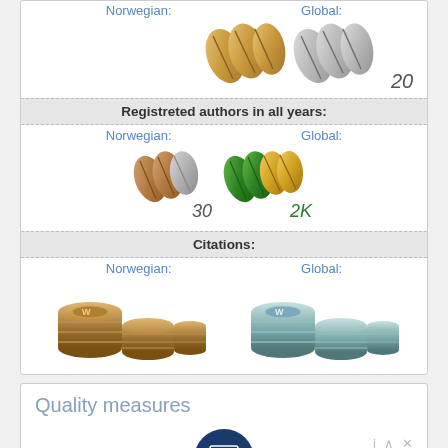Norwegian:
Global:
[Figure (illustration): Gold and silver wing/feather badges with number 20]
Registreted authors in all years:
Norwegian:
Global:
[Figure (illustration): Bronze/silver wing badge with number 30 (Norwegian) and green/gold wing badge with 2K (Global)]
Citations:
Norwegian:
Global:
[Figure (illustration): Bronze coin stacks (Norwegian) and silver/teal coin stacks (Global)]
Quality measures
[Figure (illustration): Calculator icon in dark blue circle]
Oscar Pistorius